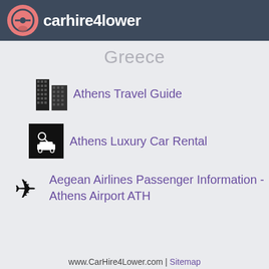carhire4lower
Greece
Athens Travel Guide
Athens Luxury Car Rental
Aegean Airlines Passenger Information - Athens Airport ATH
www.CarHire4Lower.com | Sitemap